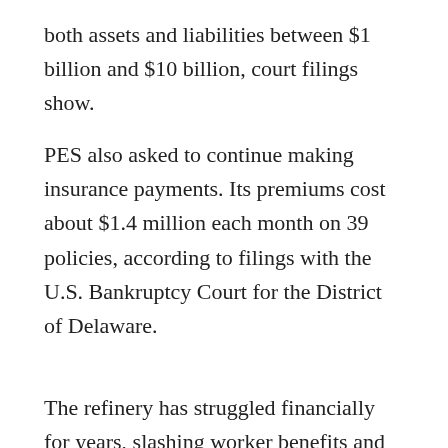both assets and liabilities between $1 billion and $10 billion, court filings show.
PES also asked to continue making insurance payments. Its premiums cost about $1.4 million each month on 39 policies, according to filings with the U.S. Bankruptcy Court for the District of Delaware.
The refinery has struggled financially for years, slashing worker benefits and scaling back capital projects to save cash. PES filed for bankruptcy in January 2018 to reduce debt, but cash on hand dwindled even after the company emerged from the process later in the year.